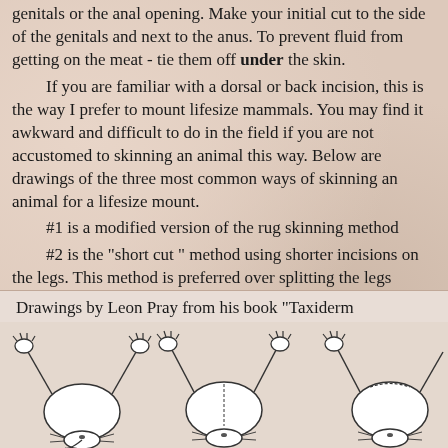genitals or the anal opening. Make your initial cut to the side of the genitals and next to the anus. To prevent fluid from getting on the meat - tie them off under the skin.
    If you are familiar with a dorsal or back incision, this is the way I prefer to mount lifesize mammals. You may find it awkward and difficult to do in the field if you are not accustomed to skinning an animal this way. Below are drawings of the three most common ways of skinning an animal for a lifesize mount.
    #1 is a modified version of the rug skinning method
    #2 is the "short cut " method using shorter incisions on the legs. This method is preferred over splitting the legs completely
    #3 is the dorsal or back incision. This method is the easiest to sew up and is the least likely to show any stitches
Drawings by Leon Pray from his book "Taxiderm
[Figure (illustration): Three line drawings of animal carcasses (viewed from below/front) showing different skinning cut patterns, with paws/claws raised upward.]